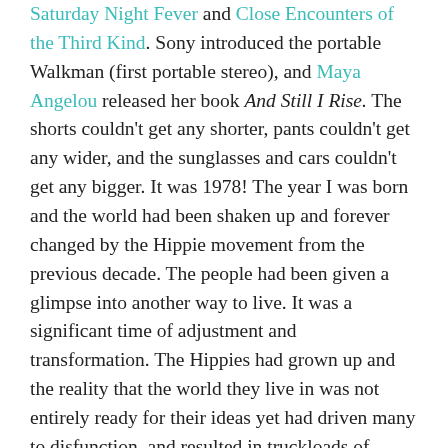Saturday Night Fever and Close Encounters of the Third Kind. Sony introduced the portable Walkman (first portable stereo), and Maya Angelou released her book And Still I Rise. The shorts couldn't get any shorter, pants couldn't get any wider, and the sunglasses and cars couldn't get any bigger. It was 1978!  The year I was born and the world had been shaken up and forever changed by the Hippie movement from the previous decade. The people had been given a glimpse into another way to live. It was a significant time of adjustment and transformation.  The Hippies had grown up and the reality that the world they live in was not entirely ready for their ideas yet had driven many to disfunction, and resulted in truckloads of cocaine coming across the border into North America.   The older generations were staunchly tightening their grip on solid family values, religion, and hard work. Racism and sexism were still